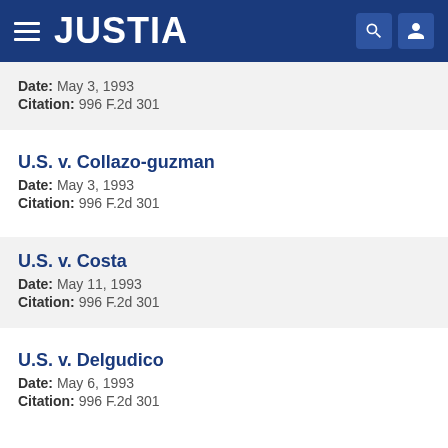JUSTIA
Date: May 3, 1993
Citation: 996 F.2d 301
U.S. v. Collazo-guzman
Date: May 3, 1993
Citation: 996 F.2d 301
U.S. v. Costa
Date: May 11, 1993
Citation: 996 F.2d 301
U.S. v. Delgudico
Date: May 6, 1993
Citation: 996 F.2d 301